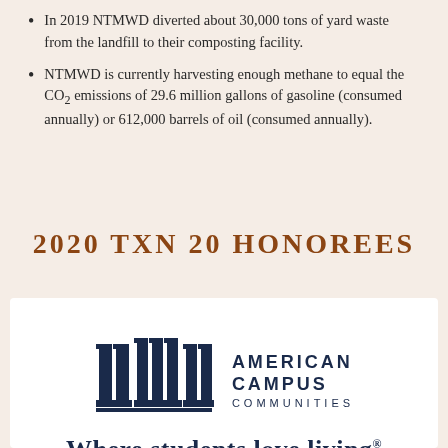In 2019 NTMWD diverted about 30,000 tons of yard waste from the landfill to their composting facility.
NTMWD is currently harvesting enough methane to equal the CO2 emissions of 29.6 million gallons of gasoline (consumed annually) or 612,000 barrels of oil (consumed annually).
2020 TXN 20 HONOREES
[Figure (logo): American Campus Communities logo with three column-style icons and the tagline 'Where students love living']